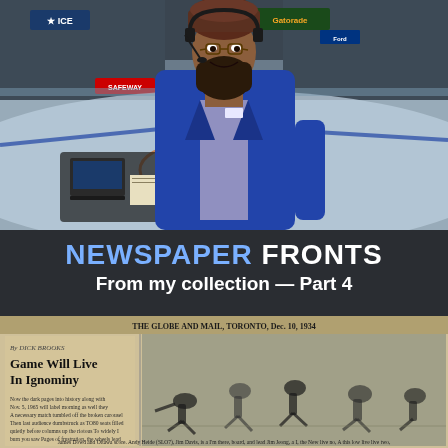[Figure (photo): Man wearing blue blazer, brown turban, beard, and headset with microphone, standing in front of an ice hockey arena press box with laptops and equipment visible, Rogers Place Edmonton Oilers arena visible in background]
NEWSPAPER FRONTS
From my collection — Part 4
[Figure (photo): Black and white scanned newspaper front page with headline 'Game Will Live In Ignominy' by Dick Brooks, showing hockey action photographs and article text]